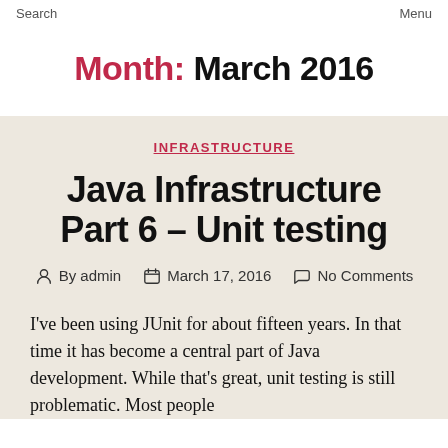Search   Menu
Month: March 2016
INFRASTRUCTURE
Java Infrastructure Part 6 – Unit testing
By admin   March 17, 2016   No Comments
I've been using JUnit for about fifteen years. In that time it has become a central part of Java development. While that's great, unit testing is still problematic. Most people